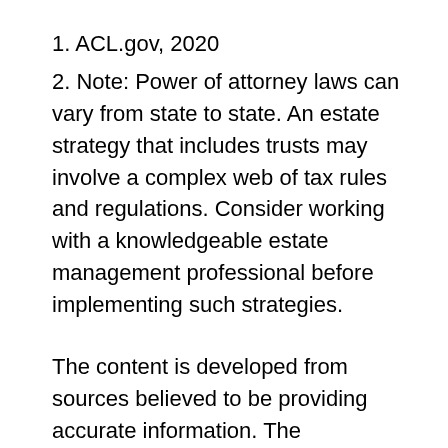1. ACL.gov, 2020
2. Note: Power of attorney laws can vary from state to state. An estate strategy that includes trusts may involve a complex web of tax rules and regulations. Consider working with a knowledgeable estate management professional before implementing such strategies.
The content is developed from sources believed to be providing accurate information. The